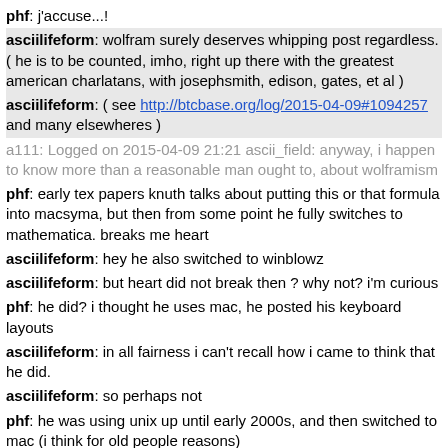phf: j'accuse...!
asciilifeform: wolfram surely deserves whipping post regardless. ( he is to be counted, imho, right up there with the greatest american charlatans, with josephsmith, edison, gates, et al )
asciilifeform: ( see http://btcbase.org/log/2015-04-09#1094257 and many elsewheres )
a111: Logged on 2015-04-09 21:21 ascii_field: anyway, i happen to know more than a reasonable man ought to, about wolframism
phf: early tex papers knuth talks about putting this or that formula into macsyma, but then from some point he fully switches to mathematica. breaks me heart
asciilifeform: hey he also switched to winblowz
asciilifeform: but heart did not break then ? why not? i'm curious
phf: he did? i thought he uses mac, he posted his keyboard layouts
asciilifeform: in all fairness i can't recall how i came to think that he did.
asciilifeform: so perhaps not
phf: he was using unix up until early 2000s, and then switched to mac (i think for old people reasons)
asciilifeform: but gotta say, there is not so much distance left, to winblowz.
asciilifeform: from cook-os.
phf: but to answer the question, i think i don't particularly mind the subtrate. man does computations, i wouldn't be too concerned if he were to switch to ipad even, because he'd still be hand writing